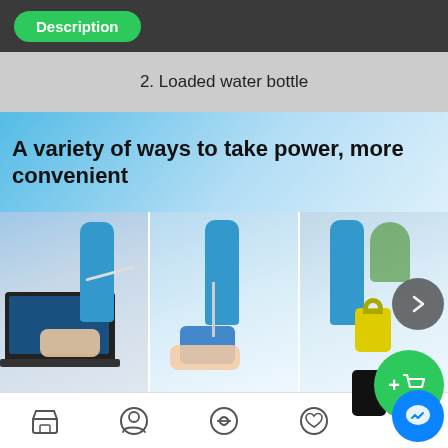Description
2. Loaded water bottle
A variety of ways to take power, more convenient
[Figure (photo): Three panel photo showing: 1) hand connecting USB cable to blue water bottle purifier attached to laptop, 2) hand holding blue mobile power bank connected to blue water bottle purifier, 3) blue water bottle purifier next to a yellow padlock and plant. A forward navigation arrow overlay is visible on the right side.]
1. Access to the
2. Access to mobile
3. Access to m
Home | Profile | Share | Favorites | Cart